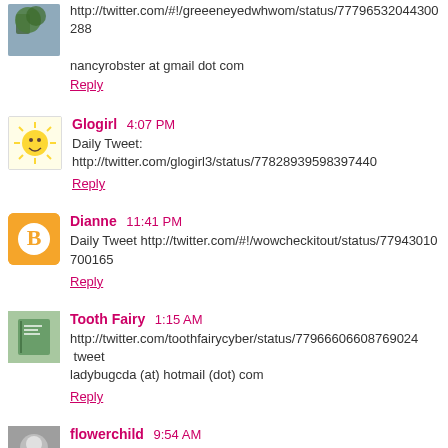http://twitter.com/#!/greeeneyedwhwom/status/77796532044300288
nancyrobster at gmail dot com
Reply
Glogirl 4:07 PM
Daily Tweet:
http://twitter.com/glogirl3/status/77828939598397440
Reply
Dianne 11:41 PM
Daily Tweet http://twitter.com/#!/wowcheckitout/status/77943010700165
Reply
Tooth Fairy 1:15 AM
http://twitter.com/toothfairycyber/status/77966606608769024
tweet
ladybugcda (at) hotmail (dot) com
Reply
flowerchild 9:54 AM